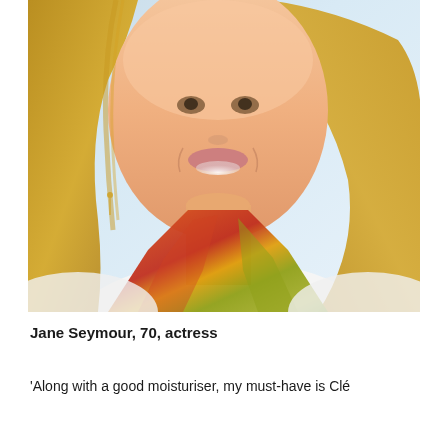[Figure (photo): Close-up portrait photo of Jane Seymour, a woman with blonde highlighted hair, smiling, wearing a colorful scarf with orange, red, and yellow-green tones, against a light background.]
Jane Seymour, 70, actress
'Along with a good moisturiser, my must-have is Clé